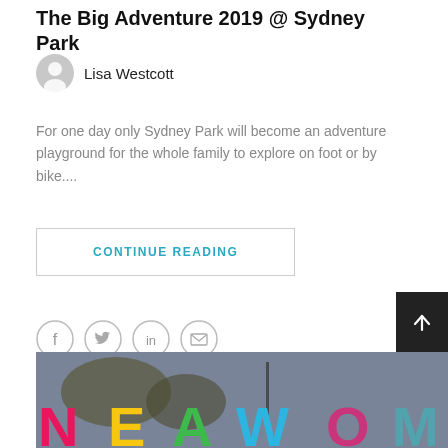The Big Adventure 2019 @ Sydney Park
Lisa Westcott
For one day only Sydney Park will become an adventure playground for the whole family to explore on foot or by bike....
CONTINUE READING
[Figure (infographic): Social share icons: Facebook, Twitter, LinkedIn, Email in grey circles]
[Figure (photo): Colourful letters spelling NEW partially visible at bottom, against a grey outdoor sky background]